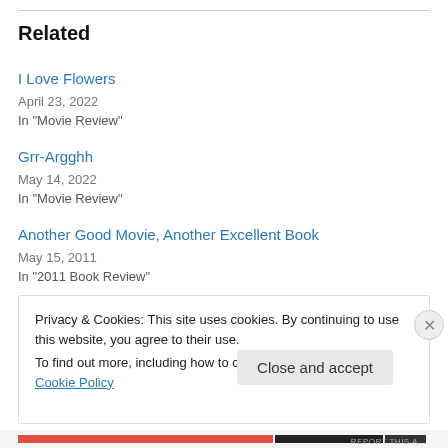Related
I Love Flowers
April 23, 2022
In "Movie Review"
Grr-Argghh
May 14, 2022
In "Movie Review"
Another Good Movie, Another Excellent Book
May 15, 2011
In "2011 Book Review"
Privacy & Cookies: This site uses cookies. By continuing to use this website, you agree to their use.
To find out more, including how to control cookies, see here: Cookie Policy
Close and accept